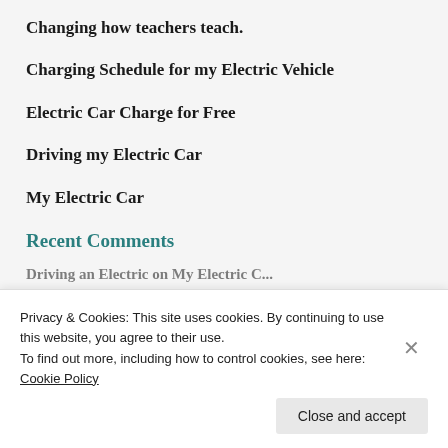Changing how teachers teach.
Charging Schedule for my Electric Vehicle
Electric Car Charge for Free
Driving my Electric Car
My Electric Car
Recent Comments
Driving an Electric on My Electric Car (partially visible, cut off)
Privacy & Cookies: This site uses cookies. By continuing to use this website, you agree to their use.
To find out more, including how to control cookies, see here: Cookie Policy
Close and accept